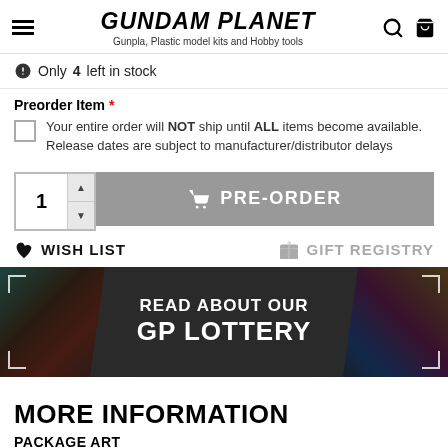GUNDAM PLANET — Gunpla, Plastic model kits and Hobby tools
Only 4 left in stock
Preorder Item *
Your entire order will NOT ship until ALL items become available. Release dates are subject to manufacturer/distributor delays
[Figure (screenshot): Quantity selector showing '1' with up/down arrows, and a gray PRE-ORDER button with shopping cart icon]
WISH LIST   GIFT REGISTRY
[Figure (infographic): Dark banner with anime characters on left and right sides, centered text reading READ ABOUT OUR GP LOTTERY]
MORE INFORMATION
PACKAGE ART